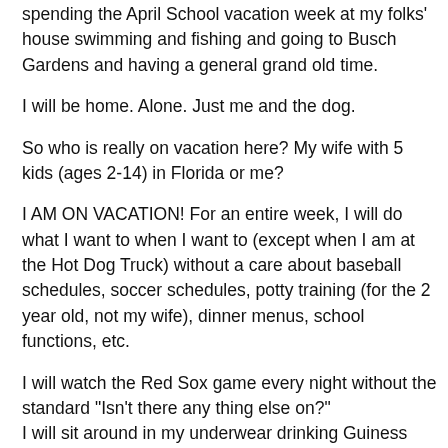spending the April School vacation week at my folks' house swimming and fishing and going to Busch Gardens and having a general grand old time.
I will be home. Alone. Just me and the dog.
So who is really on vacation here? My wife with 5 kids (ages 2-14) in Florida or me?
I AM ON VACATION! For an entire week, I will do what I want to when I want to (except when I am at the Hot Dog Truck) without a care about baseball schedules, soccer schedules, potty training (for the 2 year old, not my wife), dinner menus, school functions, etc.
I will watch the Red Sox game every night without the standard "Isn't there any thing else on?"
I will sit around in my underwear drinking Guiness without a care.
I will fiddle on the computer without having to give it up for homework.
I will sleep an extra hour and a half per day and I'll sleep til